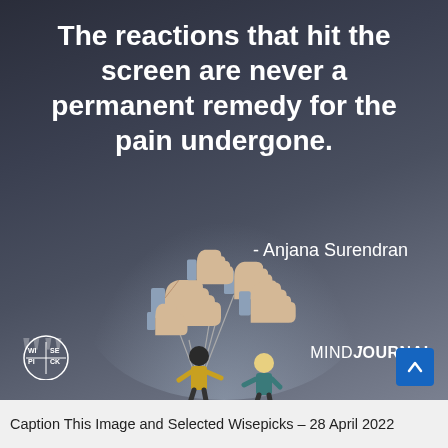[Figure (illustration): Motivational quote image with dark blue-grey gradient background. Large white bold text quote at top. Illustration of two cartoon figures — one holding strings attached to floating Facebook 'like' thumb icons as balloons, handing them to another figure. Bottom left: Wisepick logo with quotation marks. Bottom right: MindJournal logo and blue up-arrow button.]
Caption This Image and Selected Wisepicks – 28 April 2022